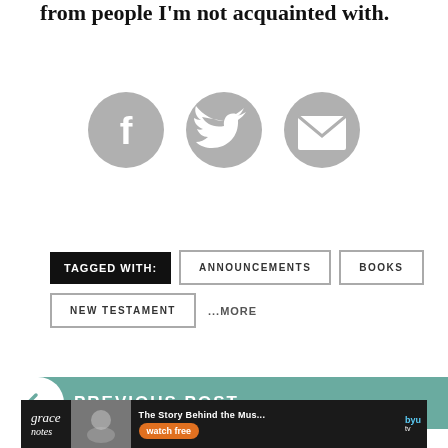from people I'm not acquainted with.
[Figure (infographic): Three circular gray social sharing icons: Facebook (f), Twitter (bird), and Email (envelope)]
TAGGED WITH: ANNOUNCEMENTS  BOOKS  NEW TESTAMENT  ...MORE
PREVIOUS POST
[Figure (infographic): Grace Notes advertisement banner with text 'The Story Behind the Music', 'watch free', and BYU tv logo]